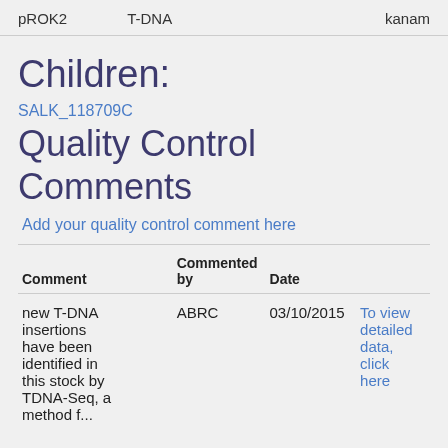pROK2    T-DNA    kanam
Children:
SALK_118709C
Quality Control Comments
Add your quality control comment here
| Comment | Commented by | Date |  |
| --- | --- | --- | --- |
| new T-DNA insertions have been identified in this stock by TDNA-Seq, a method f... | ABRC | 03/10/2015 | To view detailed data, click here |